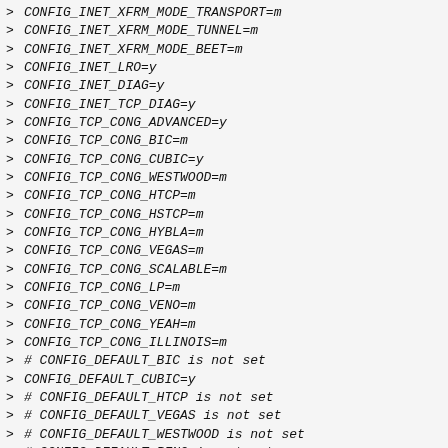> CONFIG_INET_XFRM_MODE_TRANSPORT=m
> CONFIG_INET_XFRM_MODE_TUNNEL=m
> CONFIG_INET_XFRM_MODE_BEET=m
> CONFIG_INET_LRO=y
> CONFIG_INET_DIAG=y
> CONFIG_INET_TCP_DIAG=y
> CONFIG_TCP_CONG_ADVANCED=y
> CONFIG_TCP_CONG_BIC=m
> CONFIG_TCP_CONG_CUBIC=y
> CONFIG_TCP_CONG_WESTWOOD=m
> CONFIG_TCP_CONG_HTCP=m
> CONFIG_TCP_CONG_HSTCP=m
> CONFIG_TCP_CONG_HYBLA=m
> CONFIG_TCP_CONG_VEGAS=m
> CONFIG_TCP_CONG_SCALABLE=m
> CONFIG_TCP_CONG_LP=m
> CONFIG_TCP_CONG_VENO=m
> CONFIG_TCP_CONG_YEAH=m
> CONFIG_TCP_CONG_ILLINOIS=m
> # CONFIG_DEFAULT_BIC is not set
> CONFIG_DEFAULT_CUBIC=y
> # CONFIG_DEFAULT_HTCP is not set
> # CONFIG_DEFAULT_VEGAS is not set
> # CONFIG_DEFAULT_WESTWOOD is not set
> # CONFIG_DEFAULT_RENO is not set
> CONFIG_DEFAULT_TCP_CONG="cubic"